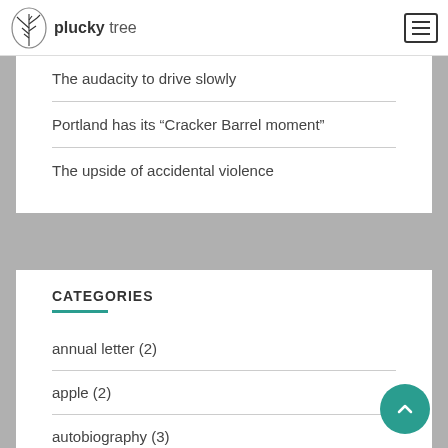plucky tree
The audacity to drive slowly
Portland has its “Cracker Barrel moment”
The upside of accidental violence
CATEGORIES
annual letter (2)
apple (2)
autobiography (3)
birds (4)